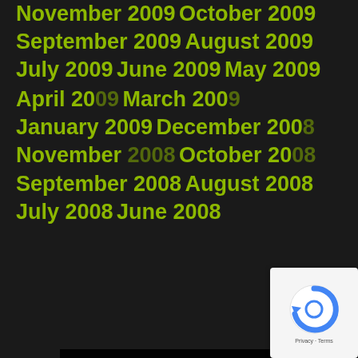November 2009
October 2009
September 2009
August 2009
July 2009
June 2009
May 2009
April 2009
March 2009
January 2009
December 2008
November 2008
October 2008
September 2008
August 2008
July 2008
June 2008
This site uses cookies. By continuing to browse the site, you are agreeing to our use of cookies.
Einstellungen akzeptieren
Verberge nur die Benachrichtigung
Einstellungen